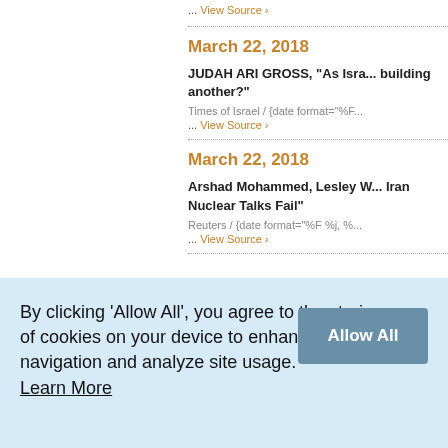... View Source ›
March 22, 2018
JUDAH ARI GROSS, "As Isra... building another?"
Times of Israel / {date format="%F...
... View Source ›
March 22, 2018
Arshad Mohammed, Lesley W... Iran Nuclear Talks Fail"
Reuters / {date format="%F %j, %...
... View Source ›
By clicking 'Allow All', you agree to the storing of cookies on your device to enhance site navigation and analyze site usage. Learn More